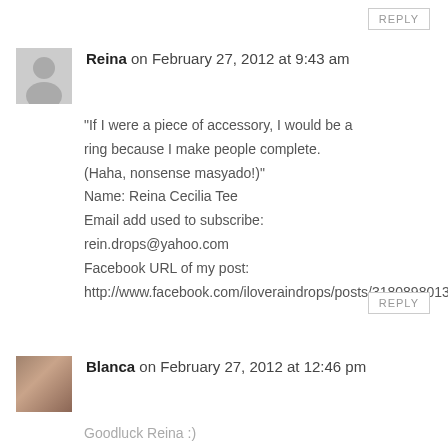REPLY
Reina on February 27, 2012 at 9:43 am
“If I were a piece of accessory, I would be a ring because I make people complete. (Haha, nonsense masyado!)” Name: Reina Cecilia Tee Email add used to subscribe: rein.drops@yahoo.com Facebook URL of my post: http://www.facebook.com/iloveraindrops/posts/3180898013
REPLY
Blanca on February 27, 2012 at 12:46 pm
Goodluck Reina :)